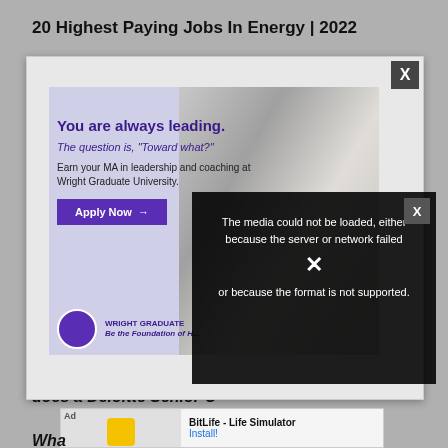20 Highest Paying Jobs In Energy | 2022
[Figure (screenshot): Advertisement popup for Wright Graduate University showing a woman smiling, with headline 'You are always leading. The question is, Toward what?' and an Apply Now button, plus a close X button in the corner.]
[Figure (screenshot): Video error overlay: black box with message 'The media could not be loaded, either because the server or network failed or because the format is not supported.' with a large X icon and a close X button.]
does a Deloitte Senior C
Wha
[Figure (screenshot): Bottom banner ad for BitLife - Life Simulator app with 'Ad' label, game icon, title 'BitLife - Life Simulator', and Install button.]